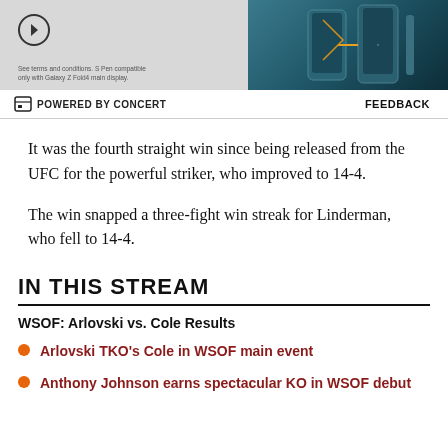[Figure (photo): Advertisement banner showing a Samsung Galaxy Z Fold4 phone product image with arrow button and disclaimer text. Teal/dark blue colored phone on gradient background.]
POWERED BY CONCERT    FEEDBACK
It was the fourth straight win since being released from the UFC for the powerful striker, who improved to 14-4.
The win snapped a three-fight win streak for Linderman, who fell to 14-4.
IN THIS STREAM
WSOF: Arlovski vs. Cole Results
Arlovski TKO's Cole in WSOF main event
Anthony Johnson earns spectacular KO in WSOF debut